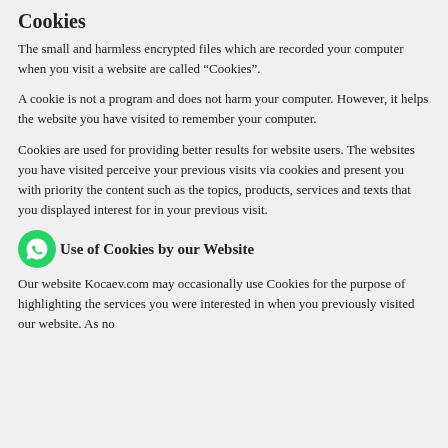Cookies
The small and harmless encrypted files which are recorded your computer when you visit a website are called “Cookies”.
A cookie is not a program and does not harm your computer. However, it helps the website you have visited to remember your computer.
Cookies are used for providing better results for website users. The websites you have visited perceive your previous visits via cookies and present you with priority the content such as the topics, products, services and texts that you displayed interest for in your previous visit.
Use of Cookies by our Website
Our website Kocaev.com may occasionally use Cookies for the purpose of highlighting the services you were interested in when you previously visited our website. As no...